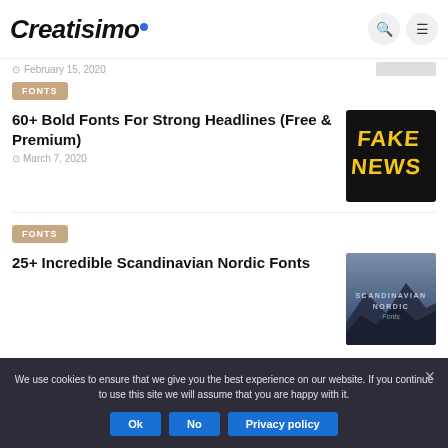Creatisimo
February 15, 2020
FONTS
60+ Bold Fonts For Strong Headlines (Free & Premium)
March 7, 2020
[Figure (photo): Black background with yellow bold text reading 'Fake News']
FONTS
25+ Incredible Scandinavian Nordic Fonts
[Figure (photo): Mountain landscape with text 'Scandinavian Nordic Fonts' overlay]
We use cookies to ensure that we give you the best experience on our website. If you continue to use this site we will assume that you are happy with it.